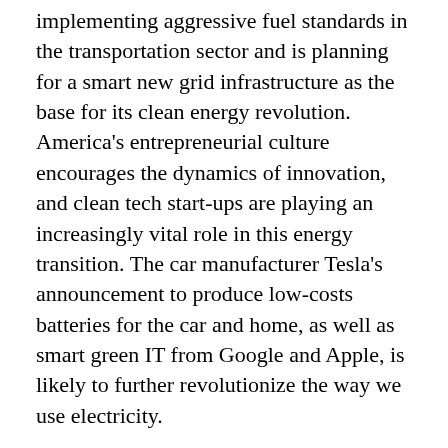implementing aggressive fuel standards in the transportation sector and is planning for a smart new grid infrastructure as the base for its clean energy revolution. America's entrepreneurial culture encourages the dynamics of innovation, and clean tech start-ups are playing an increasingly vital role in this energy transition. The car manufacturer Tesla's announcement to produce low-costs batteries for the car and home, as well as smart green IT from Google and Apple, is likely to further revolutionize the way we use electricity.
That, in turn, will impact the clean energy efforts of other countries. Germany has started the process through making these technologies affordable and competitive with conventional sources of energy. Now the US is giving it another push. Renewables are being chosen no longer for their sustainability, but for their economic benefits. The debate then, for...